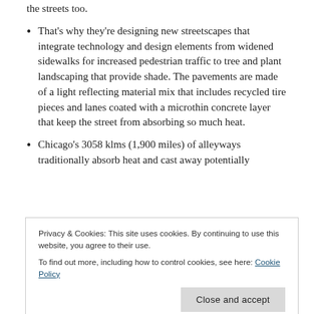the streets too.
That's why they're designing new streetscapes that integrate technology and design elements from widened sidewalks for increased pedestrian traffic to tree and plant landscaping that provide shade. The pavements are made of a light reflecting material mix that includes recycled tire pieces and lanes coated with a microthin concrete layer that keep the street from absorbing so much heat.
Chicago's 3058 klms (1,900 miles) of alleyways traditionally absorb heat and cast away potentially
Privacy & Cookies: This site uses cookies. By continuing to use this website, you agree to their use.
To find out more, including how to control cookies, see here: Cookie Policy
CO2Land.org enjoys hearing these stories and in